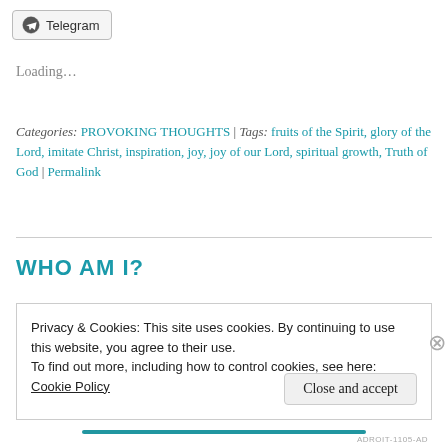[Figure (other): Telegram share button with icon]
Loading...
Categories: PROVOKING THOUGHTS | Tags: fruits of the Spirit, glory of the Lord, imitate Christ, inspiration, joy, joy of our Lord, spiritual growth, Truth of God | Permalink
WHO AM I?
Privacy & Cookies: This site uses cookies. By continuing to use this website, you agree to their use.
To find out more, including how to control cookies, see here: Cookie Policy